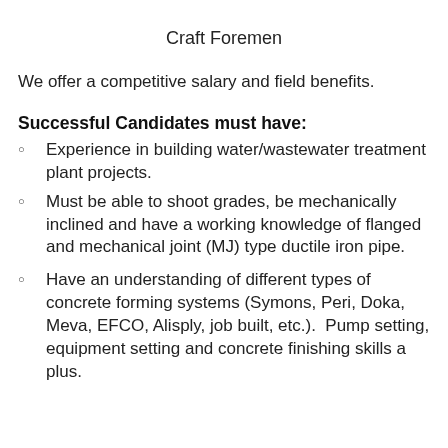Craft Foremen
We offer a competitive salary and field benefits.
Successful Candidates must have:
Experience in building water/wastewater treatment plant projects.
Must be able to shoot grades, be mechanically inclined and have a working knowledge of flanged and mechanical joint (MJ) type ductile iron pipe.
Have an understanding of different types of concrete forming systems (Symons, Peri, Doka, Meva, EFCO, Alisply, job built, etc.).  Pump setting, equipment setting and concrete finishing skills a plus.